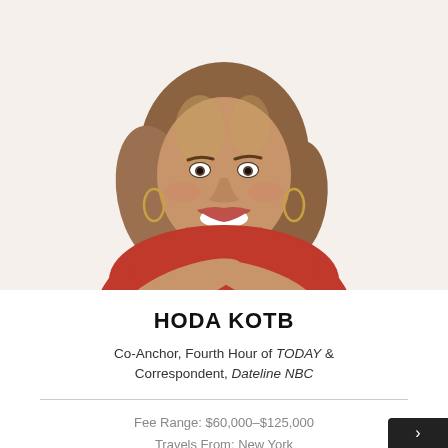[Figure (photo): Professional headshot of Hoda Kotb, a woman with shoulder-length brown/blonde hair, wearing a sleeveless red top, smiling broadly, leaning forward slightly against a white background.]
HODA KOTB
Co-Anchor, Fourth Hour of TODAY & Correspondent, Dateline NBC
Fee Range: $60,000–$125,000
Travels From: New York